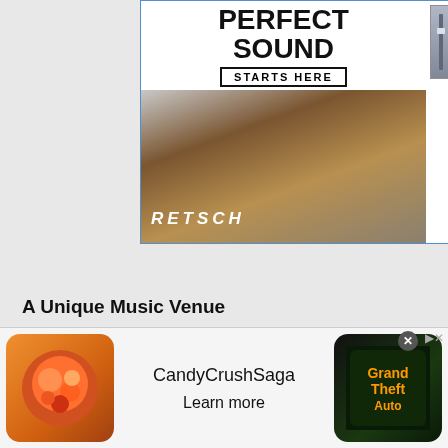[Figure (advertisement): Music equipment advertisement showing 'PERFECT SOUND STARTS HERE' with drum image on left and mixing board ($2,999.00) and saxophone ($8,559.00) on right]
A Unique Music Venue
Opened at the location of the former Plaza Grill in September 2004, owner Patrick Hall came up with Franklin’s Tower as a name that resonated with the Deadhead and as such has attracted local bands such as Sirsy, Hair of the Dog, Tim Healy Band, Scotty Mac and the Gold Tops, The Deadbeats, The Garcia Project and many more. Musically oriented and passionate, Hall has sought to convey his
[Figure (advertisement): Candy Crush Saga mobile app ad with 'Learn more' button, and Grand Theft Auto V ad on right side]